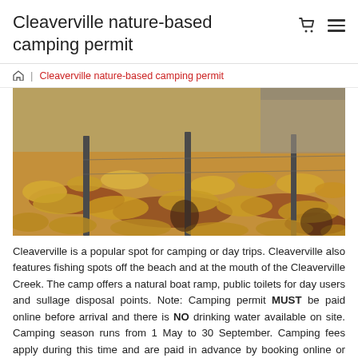Cleaverville nature-based camping permit
🏠 | Cleaverville nature-based camping permit
[Figure (photo): Outdoor photo showing dry golden-yellow grass and red soil with wooden fence posts at a camping area, likely Cleaverville nature reserve in Western Australia.]
Cleaverville is a popular spot for camping or day trips. Cleaverville also features fishing spots off the beach and at the mouth of the Cleaverville Creek. The camp offers a natural boat ramp, public toilets for day users and sullage disposal points. Note: Camping permit MUST be paid online before arrival and there is NO drinking water available on site. Camping season runs from 1 May to 30 September. Camping fees apply during this time and are paid in advance by booking online or visiting the Karratha Tourism & Visitor